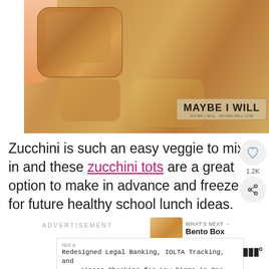[Figure (photo): Close-up photo of a zucchini tot being held, showing golden-brown breaded exterior with visible zucchini pieces. Watermark reads MAYBE I WILL in bottom right corner.]
Zucchini is such an easy veggie to mix in and these zucchini tots are a great option to make in advance and freeze for future healthy school lunch ideas.
ADVERTISEMENT
WHAT'S NEXT → Bento Box Lunch Ideas...
Not a
Redesigned Legal Banking, IOLTA Tracking, and Business Checking for Law Firms in One Place